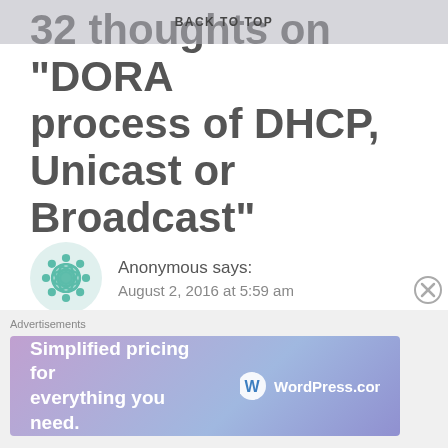BACK TO TOP
32 thoughts on “DORA process of DHCP, Unicast or Broadcast”
Anonymous says:
August 2, 2016 at 5:59 am
Please clarify: During the DHCP DORA process, I thought that only DHCPDISCOVER was a broadcast. Based on what I thought, DHCPOFFER, DHCPREQUEST and DHCPACK are not broadcasts because when the client initiates the process by sending out a boradcast, the DHCP server responds to the client directly.
Advertisements
Simplified pricing for everything you need. WordPress.com